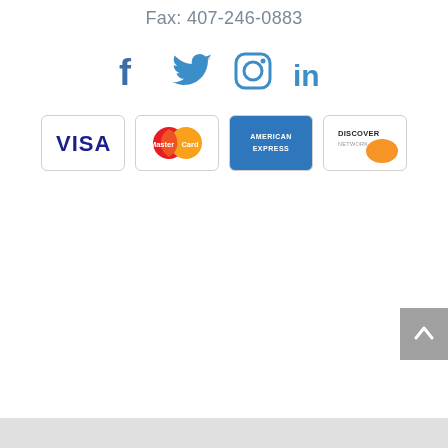Fax: 407-246-0883
[Figure (logo): Social media icons: Facebook, Twitter, Instagram, LinkedIn]
[Figure (logo): Payment method logos: VISA, MasterCard, American Express, Discover Network]